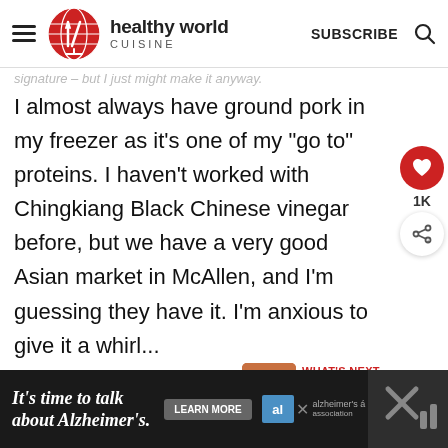healthy world cuisine
I almost always have ground pork in my freezer as it's one of my "go to" proteins. I haven't worked with Chingkiang Black Chinese vinegar before, but we have a very good Asian market in McAllen, and I'm guessing they have it. I'm anxious to give it a whirl...
Reply
WHAT'S NEXT → Thai Hot and Sour Prawn...
It's time to talk about Alzheimer's.